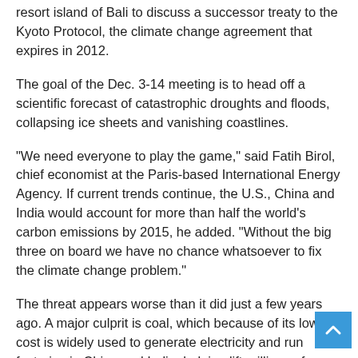resort island of Bali to discuss a successor treaty to the Kyoto Protocol, the climate change agreement that expires in 2012.
The goal of the Dec. 3-14 meeting is to head off a scientific forecast of catastrophic droughts and floods, collapsing ice sheets and vanishing coastlines.
"We need everyone to play the game," said Fatih Birol, chief economist at the Paris-based International Energy Agency. If current trends continue, the U.S., China and India would account for more than half the world's carbon emissions by 2015, he added. "Without the big three on board we have no chance whatsoever to fix the climate change problem."
The threat appears worse than it did just a few years ago. A major culprit is coal, which because of its low cost is widely used to generate electricity and run factories in China and India, helping lift millions of people out of poverty.
China plans to add more than 200 coal-fired power plants in the next five years and India, more than 150, said Christopher Bergesen, who tracks power plant construction for Platts, a